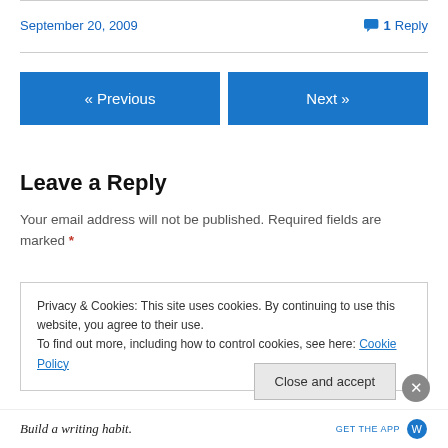September 20, 2009
1 Reply
« Previous
Next »
Leave a Reply
Your email address will not be published. Required fields are marked *
Privacy & Cookies: This site uses cookies. By continuing to use this website, you agree to their use.
To find out more, including how to control cookies, see here: Cookie Policy
Close and accept
Build a writing habit.
GET THE APP